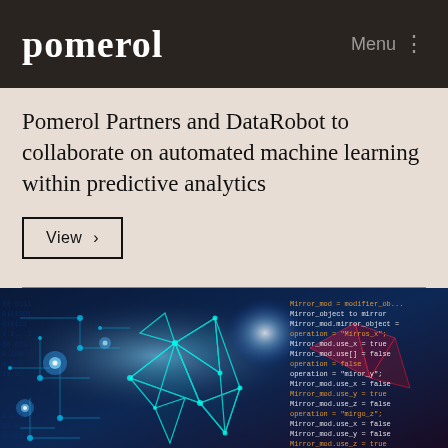pomerol   Menu
Pomerol Partners and DataRobot to collaborate on automated machine learning within predictive analytics
View >
[Figure (photo): Technology/machine learning themed image showing circuit board patterns, geometric mesh lines in cyan/teal on dark blue background, overlaid with code/script text in orange and white on right side, and red geometric shapes.]